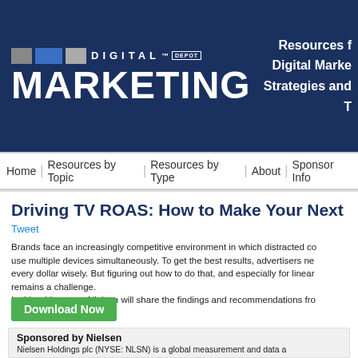DIGITAL DEPOT MARKETING | Resources for Digital Marketing Strategies and Tips
Home | Resources by Topic | Resources by Type | About | Sponsor Info
Driving TV ROAS: How to Make Your Next Dollar W...
Tweet
Brands face an increasingly competitive environment in which distracted consumers use multiple devices simultaneously. To get the best results, advertisers need to spend every dollar wisely. But figuring out how to do that, and especially for linear TV, remains a challenge.
In this whitepaper, Nielsen will share the findings and recommendations from analysis of the impact of TV advertising across 130 brands to educate advertisers on Return on Ad Spend (ROAS) for TV.
Download Now
Sponsored by Nielsen
Nielsen Holdings plc (NYSE: NLSN) is a global measurement and data analytics most complete and trusted view available of consumers and markets worldwide, business units. Nielsen Global Media provides media and advertising industry metrics that create a shared understanding of the industry required for making Connect provides consumer packaged goods manufacturers and retailers...